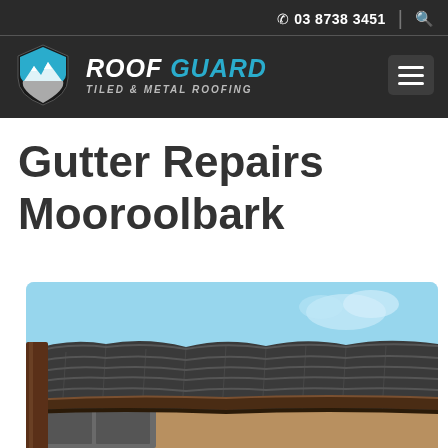03 8738 3451
[Figure (logo): Roof Guard Tiled & Metal Roofing logo with shield icon]
Gutter Repairs Mooroolbark
[Figure (photo): Photo of a house roofline showing dark brown gutters against a blue sky with tiled roof]